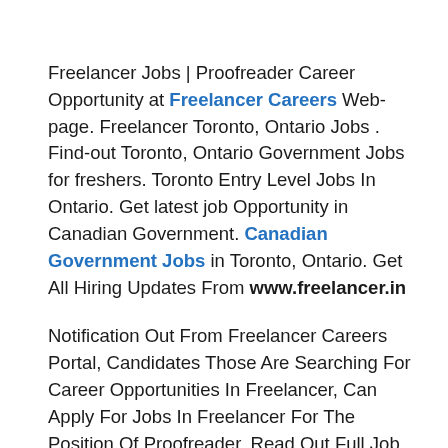Freelancer Jobs | Proofreader Career Opportunity at Freelancer Careers Web-page. Freelancer Toronto, Ontario Jobs . Find-out Toronto, Ontario Government Jobs for freshers. Toronto Entry Level Jobs In Ontario. Get latest job Opportunity in Canadian Government. Canadian Government Jobs in Toronto, Ontario. Get All Hiring Updates From www.freelancer.in
Notification Out From Freelancer Careers Portal, Candidates Those Are Searching For Career Opportunities In Freelancer, Can Apply For Jobs In Freelancer For The Position Of Proofreader. Read Out Full Job Description